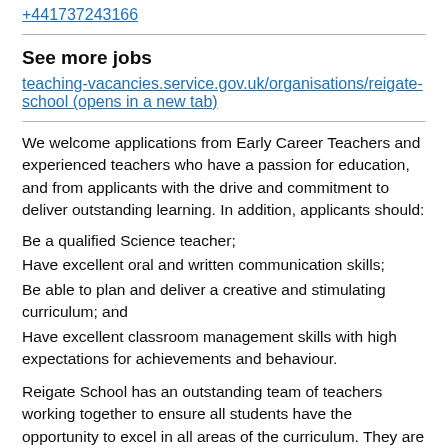+441737243166
See more jobs
teaching-vacancies.service.gov.uk/organisations/reigate-school (opens in a new tab)
We welcome applications from Early Career Teachers and experienced teachers who have a passion for education, and from applicants with the drive and commitment to deliver outstanding learning. In addition, applicants should:
Be a qualified Science teacher;
Have excellent oral and written communication skills;
Be able to plan and deliver a creative and stimulating curriculum; and
Have excellent classroom management skills with high expectations for achievements and behaviour.
Reigate School has an outstanding team of teachers working together to ensure all students have the opportunity to excel in all areas of the curriculum. They are supported by a Trust, Governing Body and Senior Leadership Team who all value